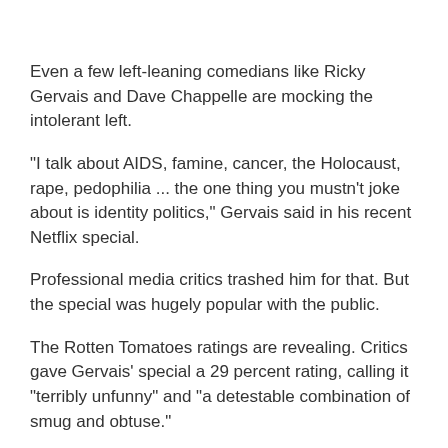Even a few left-leaning comedians like Ricky Gervais and Dave Chappelle are mocking the intolerant left.
"I talk about AIDS, famine, cancer, the Holocaust, rape, pedophilia ... the one thing you mustn't joke about is identity politics," Gervais said in his recent Netflix special.
Professional media critics trashed him for that. But the special was hugely popular with the public.
The Rotten Tomatoes ratings are revealing. Critics gave Gervais' special a 29 percent rating, calling it "terribly unfunny" and "a detestable combination of smug and obtuse."
Viewers gave it a 92 percent rating.